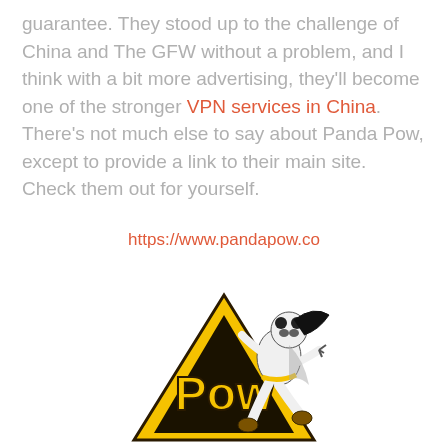guarantee. They stood up to the challenge of China and The GFW without a problem, and I think with a bit more advertising, they'll become one of the stronger VPN services in China.  There's not much else to say about Panda Pow, except to provide a link to their main site.  Check them out for yourself.
https://www.pandapow.co
[Figure (illustration): Panda Pow logo: a yellow triangular shape with 'Pow' text and a panda superhero character in white costume kicking dynamically]